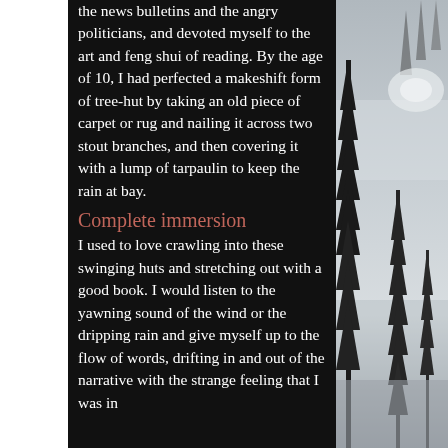the news bulletins and the angry politicians, and devoted myself to the art and feng shui of reading. By the age of 10, I had perfected a makeshift form of tree-hut by taking an old piece of carpet or rug and nailing it across two stout branches, and then covering it with a lump of tarpaulin to keep the rain at bay.
Complete immersion
I used to love crawling into these swinging huts and stretching out with a good book. I would listen to the yawning sound of the wind or the dripping rain and give myself up to the flow of words, drifting in and out of the narrative with the strange feeling that I was in
[Figure (photo): Black and white photograph of tall pine/fir trees in fog or mist, atmospheric and moody]